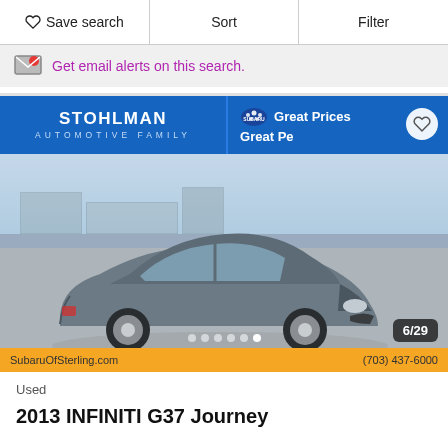Save search | Sort | Filter
Get email alerts on this search.
[Figure (photo): Stohlman Automotive Family / Subaru dealer banner with 'Great Prices Great Pe...' text on blue background, followed by exterior photo of a gray 2013 Infiniti G37 Journey sedan parked in a dealer lot, with photo counter 6/29 and dot navigation indicators, and an orange dealer contact bar at the bottom showing SubaruOfSterling.com and (703) 437-6000]
Used
2013 INFINITI G37 Journey